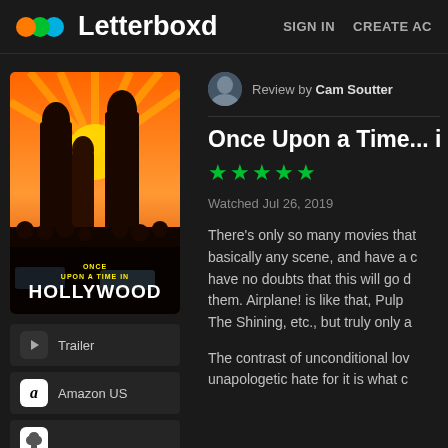Letterboxd — SIGN IN  CREATE AC
[Figure (photo): Movie poster for Once Upon a Time in Hollywood showing cast members against a colorful background]
Trailer
Amazon US
Review by Cam Soutter
Once Upon a Time... in
★★★★★
Watched Jul 26, 2019
There's only so many movies that basically any scene, and have a c have no doubts that this will go d them. Airplane! is like that, Pulp The Shining, etc., but truly only a
The contrast of unconditional lov unapologetic hate for it is what c